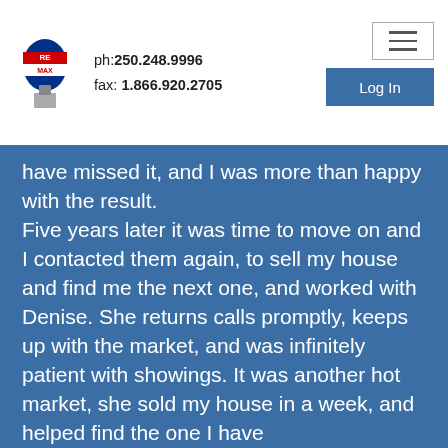ph: 250.248.9996  fax: 1.866.920.2705
have missed it, and I was more than happy with the result. Five years later it was time to move on and I contacted them again, to sell my house and find me the next one, and worked with Denise. She returns calls promptly, keeps up with the market, and was infinitely patient with showings. It was another hot market, she sold my house in a week, and helped find the one I have